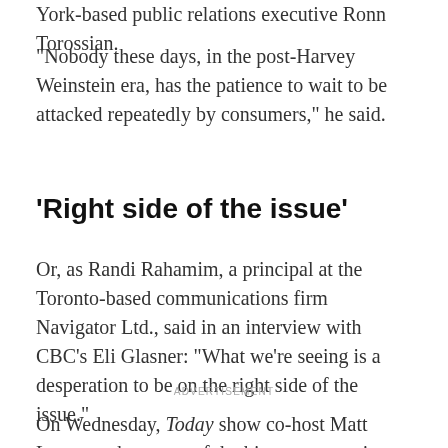York-based public relations executive Ronn Torossian.
"Nobody these days, in the post-Harvey Weinstein era, has the patience to wait to be attacked repeatedly by consumers," he said.
'Right side of the issue'
Or, as Randi Rahamim, a principal at the Toronto-based communications firm Navigator Ltd., said in an interview with CBC's Eli Glasner: "What we're seeing is a desperation to be on the right side of the issue."
ADVERTISEMENT
On Wednesday, Today show co-host Matt Lauer, perhaps one of the biggest names in television, joined the growing list of male celebrities